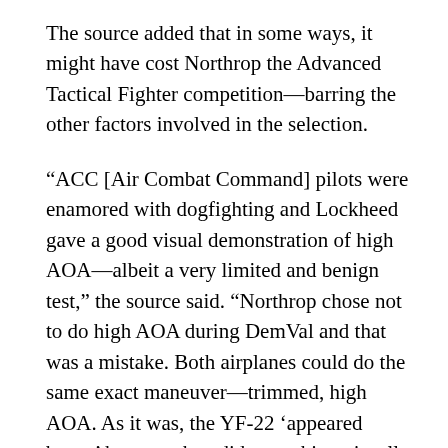The source added that in some ways, it might have cost Northrop the Advanced Tactical Fighter competition—barring the other factors involved in the selection.
“ACC [Air Combat Command] pilots were enamored with dogfighting and Lockheed gave a good visual demonstration of high AOA—albeit a very limited and benign test,” the source said. “Northrop chose not to do high AOA during DemVal and that was a mistake. Both airplanes could do the same exact maneuver—trimmed, high AOA. As it was, the YF-22 ‘appeared better’ because they did something visually exciting and Northrop couldn’t—or so it was inferred.”